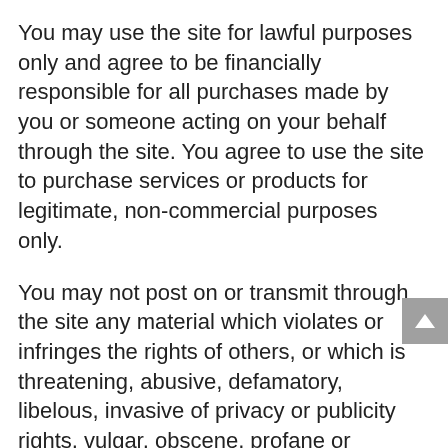You may use the site for lawful purposes only and agree to be financially responsible for all purchases made by you or someone acting on your behalf through the site. You agree to use the site to purchase services or products for legitimate, non-commercial purposes only.
You may not post on or transmit through the site any material which violates or infringes the rights of others, or which is threatening, abusive, defamatory, libelous, invasive of privacy or publicity rights, vulgar, obscene, profane or otherwise objectionable, contains injurious formulas, recipes, or instructions, which encourages conduct that would constitute a criminal offense, give rise to civil liability or otherwise violate any law.
You may not send, negatively impact, or infect